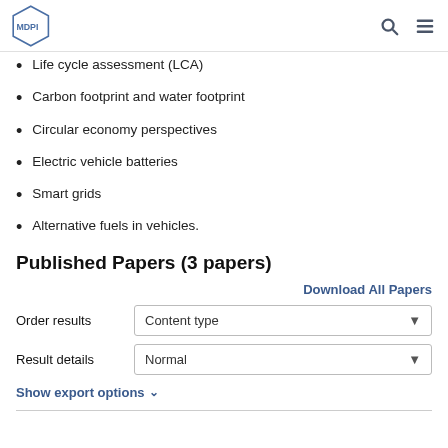MDPI
Life cycle assessment (LCA)
Carbon footprint and water footprint
Circular economy perspectives
Electric vehicle batteries
Smart grids
Alternative fuels in vehicles.
Published Papers (3 papers)
Download All Papers
Order results
Content type
Result details
Normal
Show export options